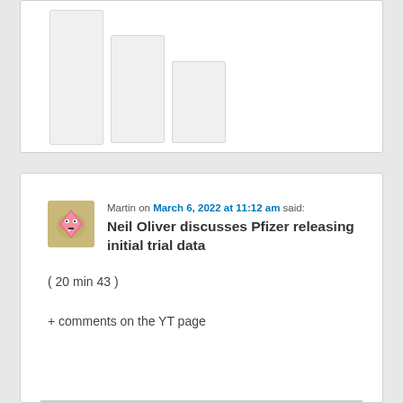[Figure (other): Top white card with vertical bar placeholders (partial view of chart or UI element)]
Martin on March 6, 2022 at 11:12 am said:
Neil Oliver discusses Pfizer releasing initial trial data
( 20 min 43 )
+ comments on the YT page